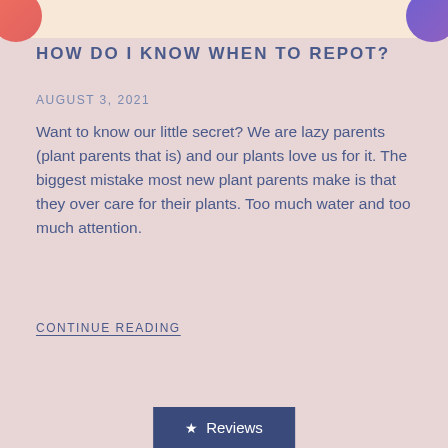HOW DO I KNOW WHEN TO REPOT?
AUGUST 3, 2021
Want to know our little secret? We are lazy parents (plant parents that is) and our plants love us for it. The biggest mistake most new plant parents make is that they over care for their plants. Too much water and too much attention.
CONTINUE READING
★ Reviews